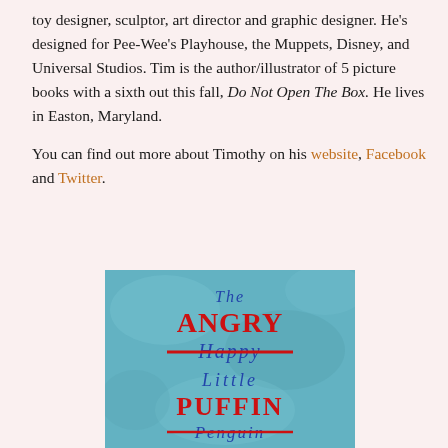toy designer, sculptor, art director and graphic designer. He's designed for Pee-Wee's Playhouse, the Muppets, Disney, and Universal Studios. Tim is the author/illustrator of 5 picture books with a sixth out this fall, Do Not Open The Box. He lives in Easton, Maryland.

You can find out more about Timothy on his website, Facebook and Twitter.
[Figure (illustration): Book cover for 'The Angry (Happy crossed out) Little Puffin (Penguin crossed out)' on a teal/blue textured background with handwritten-style lettering in blue and red.]